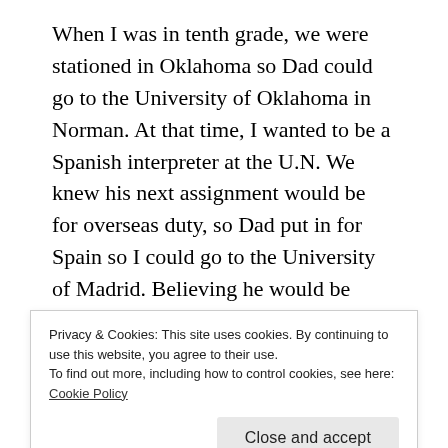When I was in tenth grade, we were stationed in Oklahoma so Dad could go to the University of Oklahoma in Norman. At that time, I wanted to be a Spanish interpreter at the U.N. We knew his next assignment would be for overseas duty, so Dad put in for Spain so I could go to the University of Madrid. Believing he would be stationed in Span, that summer I took summer classes so I could skip my junior year and be a senior the next year. My goal was that once we went overseas, I could go straight to college. Well, the military and life are noted for (laughs) not doing what you planned, so they sent us to Japan instead. And I was
Privacy & Cookies: This site uses cookies. By continuing to use this website, you agree to their use.
To find out more, including how to control cookies, see here: Cookie Policy
Close and accept
Unfortunately I didn't even get to go to my high school